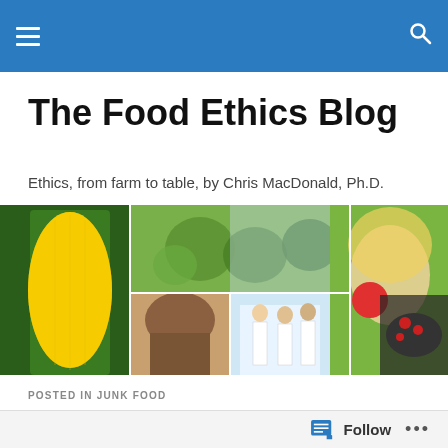The Food Ethics Blog — navigation bar
The Food Ethics Blog
Ethics, from farm to table, by Chris MacDonald, Ph.D.
[Figure (photo): A photo collage showing corn, a child drinking, people with melons, scientists in white coats, a girl eating an apple, a DNA helix, and a plate of food.]
POSTED IN JUNK FOOD
US Government Contradicts Itself in Promoting Cheese
Follow